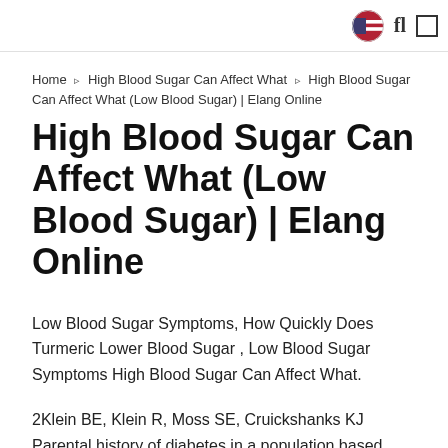[flag icon] [search icon] [menu icon]
Home ❯ High Blood Sugar Can Affect What ❯ High Blood Sugar Can Affect What (Low Blood Sugar) | Elang Online
High Blood Sugar Can Affect What (Low Blood Sugar) | Elang Online
Low Blood Sugar Symptoms, How Quickly Does Turmeric Lower Blood Sugar , Low Blood Sugar Symptoms High Blood Sugar Can Affect What.
2Klein BE, Klein R, Moss SE, Cruickshanks KJ Parental history of diabetes in a population based examine